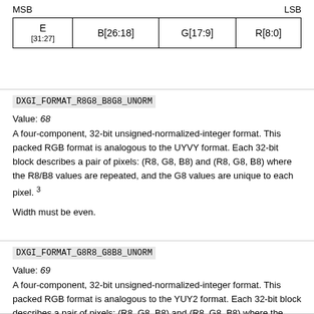[Figure (schematic): Bit layout diagram showing MSB to LSB fields: E[31:27], B[26:18], G[17:9], R[8:0]]
DXGI_FORMAT_R8G8_B8G8_UNORM
Value: 68
A four-component, 32-bit unsigned-normalized-integer format. This packed RGB format is analogous to the UYVY format. Each 32-bit block describes a pair of pixels: (R8, G8, B8) and (R8, G8, B8) where the R8/B8 values are repeated, and the G8 values are unique to each pixel. 3
Width must be even.
DXGI_FORMAT_G8R8_G8B8_UNORM
Value: 69
A four-component, 32-bit unsigned-normalized-integer format. This packed RGB format is analogous to the YUY2 format. Each 32-bit block describes a pair of pixels: (R8, G8, B8) and (R8, G8, B8) where the R8/B8 values are repeated, and the G8 values are unique to each pixel. 3